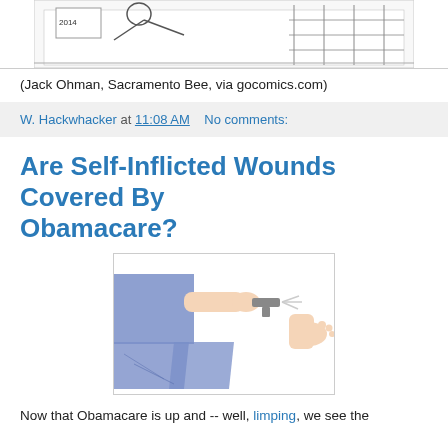[Figure (illustration): Political cartoon (Jack Ohman, Sacramento Bee) showing a running figure near a building labeled 2014, partially visible at top of page]
(Jack Ohman, Sacramento Bee, via gocomics.com)
W. Hackwhacker at 11:08 AM   No comments:
Are Self-Inflicted Wounds Covered By Obamacare?
[Figure (illustration): Illustration of a person in blue clothing shooting themselves in the foot with a small gun]
Now that Obamacare is up and -- well, limping, we see the